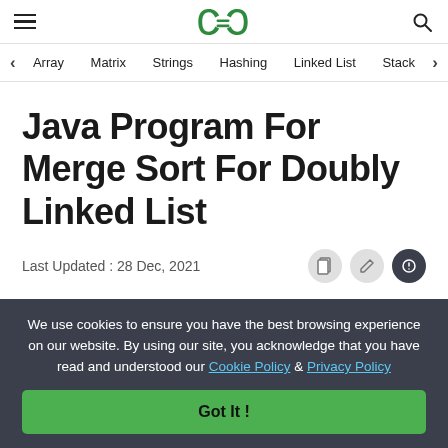GeeksforGeeks
Array  Matrix  Strings  Hashing  Linked List  Stack
Java Program For Merge Sort For Doubly Linked List
Last Updated : 28 Dec, 2021
We use cookies to ensure you have the best browsing experience on our website. By using our site, you acknowledge that you have read and understood our Cookie Policy & Privacy Policy
Got It !